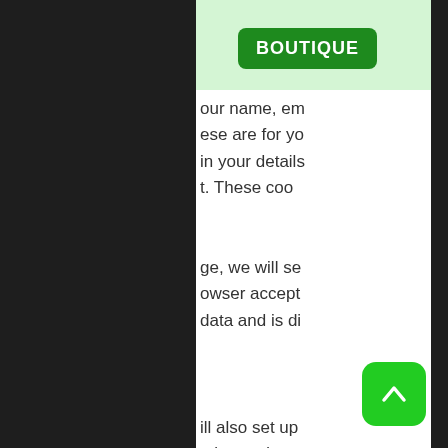BOUTIQUE
our name, em
ese are for yo
in your details
t. These coo
ge, we will se
owser accept
data and is di
ill also set up
ation and you
s last for two d
r a year. If you
sist for two we
n cookies will